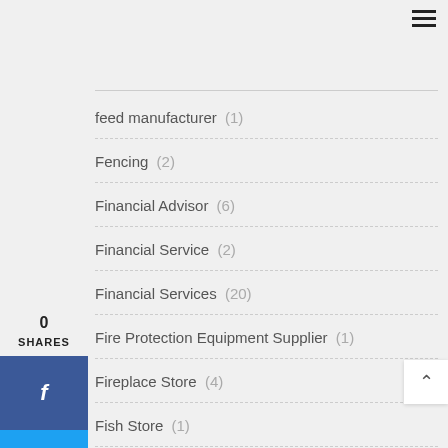feed manufacturer (1)
Fencing (2)
Financial Advisor (6)
Financial Service (2)
Financial Services (20)
Fire Protection Equipment Supplier (1)
Fireplace Store (4)
Fish Store (1)
Fishing Gear Manufacturer (1)